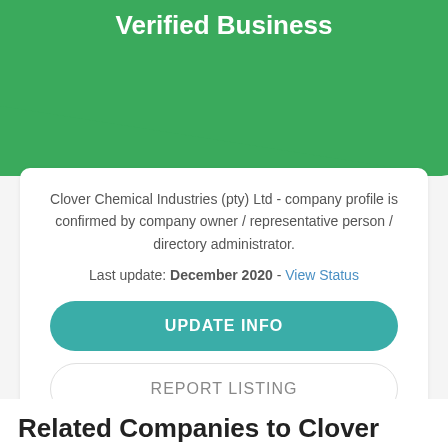Verified Business
Clover Chemical Industries (pty) Ltd - company profile is confirmed by company owner / representative person / directory administrator.
Last update: December 2020 - View Status
UPDATE INFO
REPORT LISTING
Related Companies to Clover